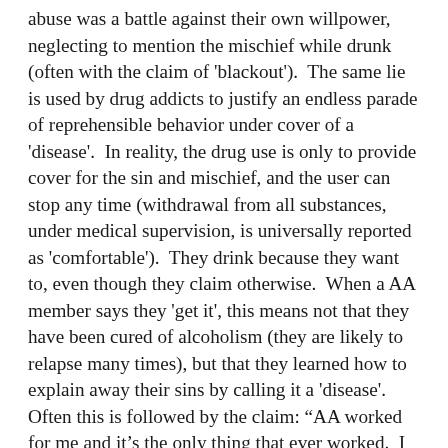abuse was a battle against their own willpower, neglecting to mention the mischief while drunk (often with the claim of 'blackout').  The same lie is used by drug addicts to justify an endless parade of reprehensible behavior under cover of a 'disease'.  In reality, the drug use is only to provide cover for the sin and mischief, and the user can stop any time (withdrawal from all substances, under medical supervision, is universally reported as 'comfortable').  They drink because they want to, even though they claim otherwise.  When a AA member says they 'get it', this means not that they have been cured of alcoholism (they are likely to relapse many times), but that they learned how to explain away their sins by calling it a 'disease'.  Often this is followed by the claim: “AA worked for me and it’s the only thing that ever worked.  I was going to die before I discovered AA.”  Anyone who says this simple but powerful lie likely has a few sponsees who they’ve inducted into the religion, and more than a few stories of sponsee abuse and exploitation, like their hero Bill Wilson.  And we are relieved that at least there is a treatment for such